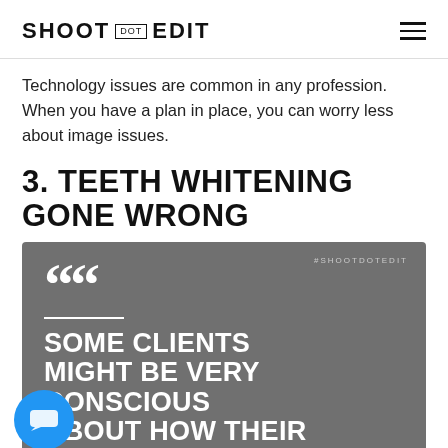SHOOT DOT EDIT
Technology issues are common in any profession. When you have a plan in place, you can worry less about image issues.
3. TEETH WHITENING GONE WRONG
[Figure (infographic): Grey quote card with large white quotation marks, hashtag #SHOOTDOTEDIT in top right, and bold white text reading SOME CLIENTS MIGHT BE VERY CONSCIOUS ABOUT HOW THEIR]